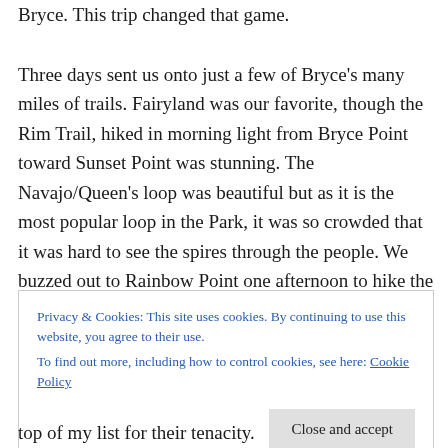Bryce. This trip changed that game.
Three days sent us onto just a few of Bryce's many miles of trails. Fairyland was our favorite, though the Rim Trail, hiked in morning light from Bryce Point toward Sunset Point was stunning. The Navajo/Queen's loop was beautiful but as it is the most popular loop in the Park, it was so crowded that it was hard to see the spires through the people. We buzzed out to Rainbow Point one afternoon to hike the Bristlecone Trail, a one-mile loop winding through spruce and fir to an open cliff. The views
Privacy & Cookies: This site uses cookies. By continuing to use this website, you agree to their use.
To find out more, including how to control cookies, see here: Cookie Policy
top of my list for their tenacity.